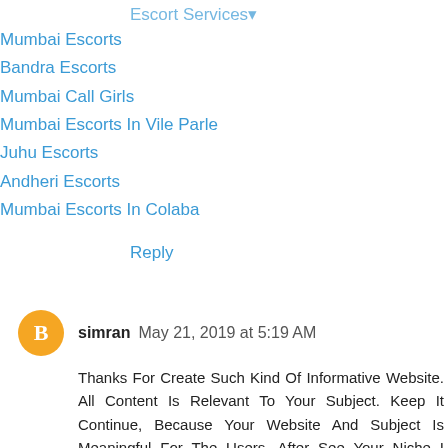Escort Services
Mumbai Escorts
Bandra Escorts
Mumbai Call Girls
Mumbai Escorts In Vile Parle
Juhu Escorts
Andheri Escorts
Mumbai Escorts In Colaba
Reply
simran  May 21, 2019 at 5:19 AM
Thanks For Create Such Kind Of Informative Website. All Content Is Relevant To Your Subject. Keep It Continue, Because Your Website And Subject Is Meaningful For The Users. After See Your Niche I Have Recommended Your Website With My Friends Also.
My Name Is Priya Singh. I Run My Own Juhu EscortsService. I Am An Independent Mumbai Escort Girl. I